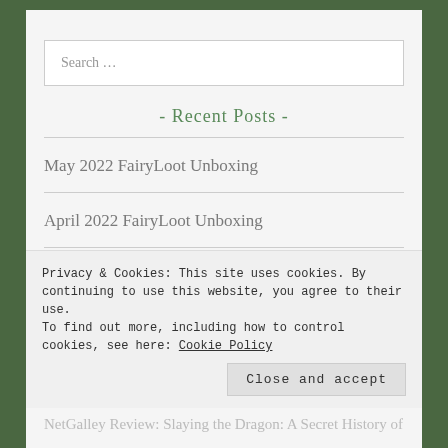[Figure (screenshot): Search bar with placeholder text 'Search ...']
- Recent Posts -
May 2022 FairyLoot Unboxing
April 2022 FairyLoot Unboxing
NetGalley Review: The Jane Austen Society by Natalie...
Privacy & Cookies: This site uses cookies. By continuing to use this website, you agree to their use. To find out more, including how to control cookies, see here: Cookie Policy
Close and accept
NetGalley Review: Slaying the Dragon: A Secret History of